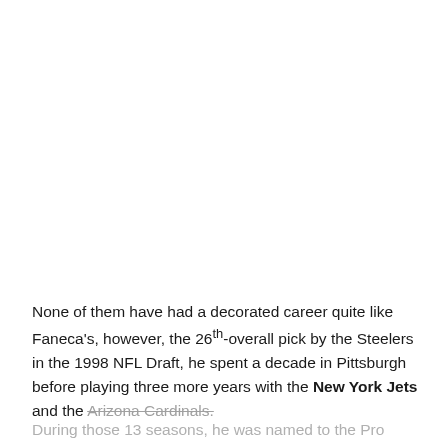None of them have had a decorated career quite like Faneca's, however, the 26th-overall pick by the Steelers in the 1998 NFL Draft, he spent a decade in Pittsburgh before playing three more years with the New York Jets and the Arizona Cardinals.
During those 13 seasons, he was named to the Pro Bowl nine